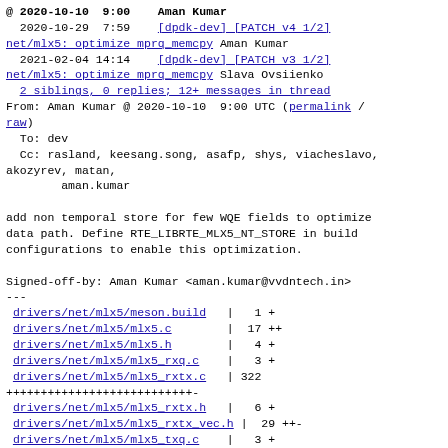@ 2020-10-10  9:00    Aman Kumar
  2020-10-29  7:59    [dpdk-dev] [PATCH v4 1/2] net/mlx5: optimize mprq_memcpy Aman Kumar
  2021-02-04 14:14    [dpdk-dev] [PATCH v3 1/2] net/mlx5: optimize mprq_memcpy Slava Ovsiienko
  2 siblings, 0 replies; 12+ messages in thread
From: Aman Kumar @ 2020-10-10  9:00 UTC (permalink / raw)
  To: dev
  Cc: rasland, keesang.song, asafp, shys, viacheslavo, akozyrev, matan,
        aman.kumar

add non temporal store for few WQE fields to optimize data path. Define RTE_LIBRTE_MLX5_NT_STORE in build configurations to enable this optimization.

Signed-off-by: Aman Kumar <aman.kumar@vvdntech.in>
---
 drivers/net/mlx5/meson.build   |   1 +
 drivers/net/mlx5/mlx5.c        |  17 ++
 drivers/net/mlx5/mlx5.h        |   4 +
 drivers/net/mlx5/mlx5_rxq.c    |   3 +
 drivers/net/mlx5/mlx5_rxtx.c   | 322
+++++++++++++++++++++++++++-
 drivers/net/mlx5/mlx5_rxtx.h   |   6 +
 drivers/net/mlx5/mlx5_rxtx_vec.h |  29 ++-
 drivers/net/mlx5/mlx5_txq.c    |   3 +
 meson_options.txt               |   2 +
9 files changed, 378 insertions(+), 9 deletions(-)